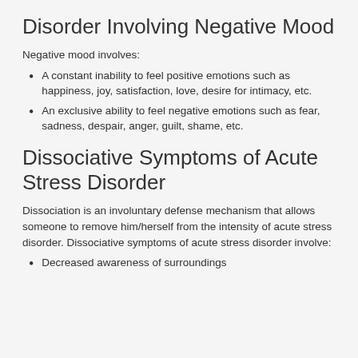Disorder Involving Negative Mood
Negative mood involves:
A constant inability to feel positive emotions such as happiness, joy, satisfaction, love, desire for intimacy, etc.
An exclusive ability to feel negative emotions such as fear, sadness, despair, anger, guilt, shame, etc.
Dissociative Symptoms of Acute Stress Disorder
Dissociation is an involuntary defense mechanism that allows someone to remove him/herself from the intensity of acute stress disorder. Dissociative symptoms of acute stress disorder involve:
Decreased awareness of surroundings